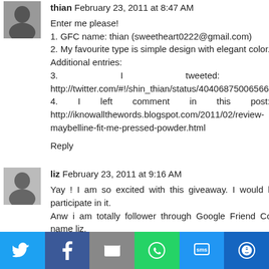thian February 23, 2011 at 8:47 AM
Enter me please!
1. GFC name: thian (sweetheart0222@gmail.com)
2. My favourite type is simple design with elegant color.
Additional entries:
3. I tweeted: http://twitter.com/#!/shin_thian/status/40406875006566400
4. I left comment in this post: http://iknowallthewords.blogspot.com/2011/02/review-maybelline-fit-me-pressed-powder.html
Reply
liz February 23, 2011 at 9:16 AM
Yay ! I am so excited with this giveaway. I would like to participate in it.
Anw i am totally follower through Google Friend Connect name liz.
I spread words about giveaway in twitter here
[Figure (infographic): Social share bar with Twitter, Facebook, Email, WhatsApp, SMS, and More icons]